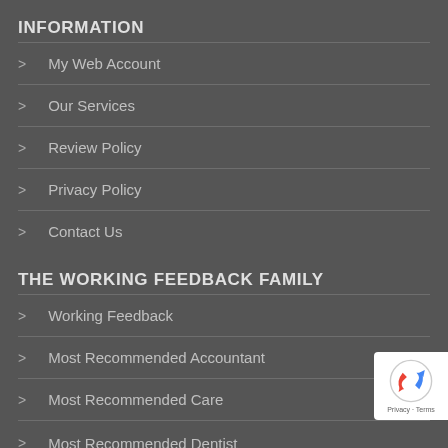INFORMATION
My Web Account
Our Services
Review Policy
Privacy Policy
Contact Us
THE WORKING FEEDBACK FAMILY
Working Feedback
Most Recommended Accountant
Most Recommended Care
Most Recommended Dentist
[Figure (logo): reCAPTCHA badge with Privacy and Terms links]